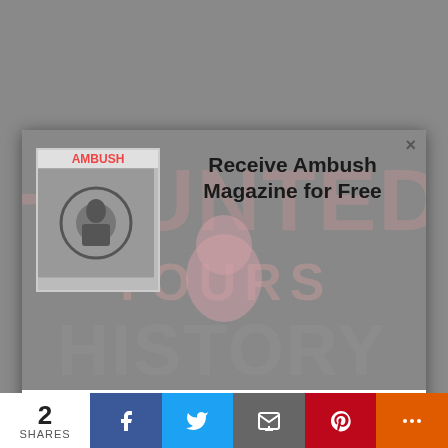[Figure (other): Modal popup overlay on a webpage. Contains Ambush Magazine logo/cover image top-left, Haunted History Tours decorative background, headline text 'Receive Ambush Magazine for Free', body text about newsletter, and a purple Subscribe now button.]
Receive Ambush Magazine for Free
Join our newsletter and every other Tuesday, we'll send you each issue to your email. Best of all, it's free and you can unsubscribe at any time.
Subscribe now
(504) 861-2727
HauntedHistoryTours.com
CONNECT & JOIN THE CONVERSATION
2
SHARES